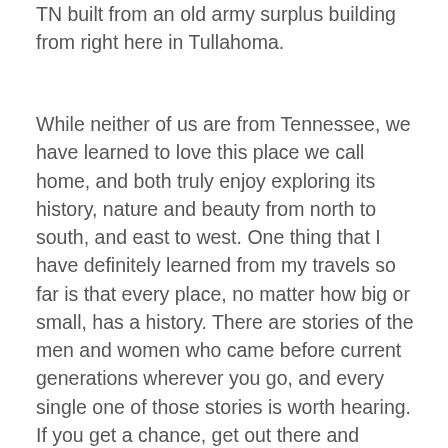TN built from an old army surplus building from right here in Tullahoma.
While neither of us are from Tennessee, we have learned to love this place we call home, and both truly enjoy exploring its history, nature and beauty from north to south, and east to west. One thing that I have definitely learned from my travels so far is that every place, no matter how big or small, has a history. There are stories of the men and women who came before current generations wherever you go, and every single one of those stories is worth hearing. If you get a chance, get out there and explore your local area, see what's there, talk to the people you meet, and your life will be richer for it. Meanwhile, keep following along here as I explore further and further afield from my own home base, and you never know, maybe I'll see you out